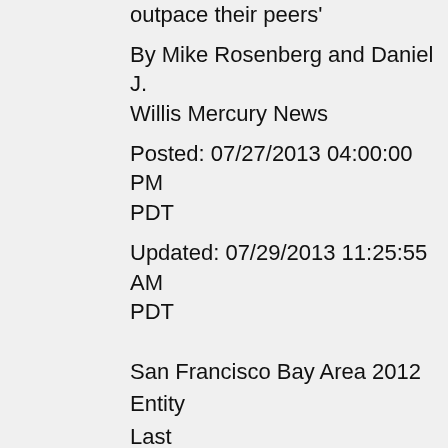outpace their peers'
By Mike Rosenberg and Daniel J. Willis Mercury News
Posted: 07/27/2013 04:00:00 PM PDT
Updated: 07/29/2013 11:25:55 AM PDT
San Francisco Bay Area 2012
Entity
Last
First
Gross:
to
TCOE:
to
Advanced Search